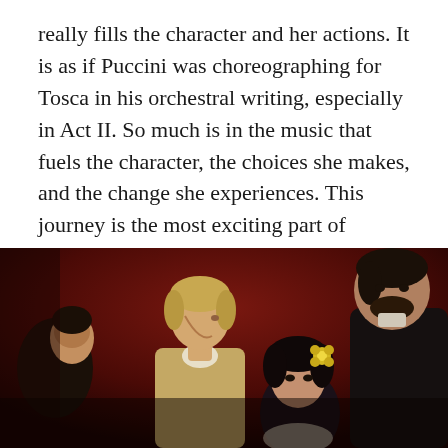really fills the character and her actions. It is as if Puccini was choreographing for Tosca in his orchestral writing, especially in Act II. So much is in the music that fuels the character, the choices she makes, and the change she experiences. This journey is the most exciting part of singing Tosca – both the journey of the evolution of the character as well as the music.
[Figure (photo): Opera performance scene showing three performers on stage against a dark red background. A male performer with light hair in period costume is prominent in the center-left, facing right. A female performer with dark hair and a yellow flower accessory is in the center-right foreground. A larger male performer in dark clothing stands at the right. Another male performer is partially visible at the far left.]